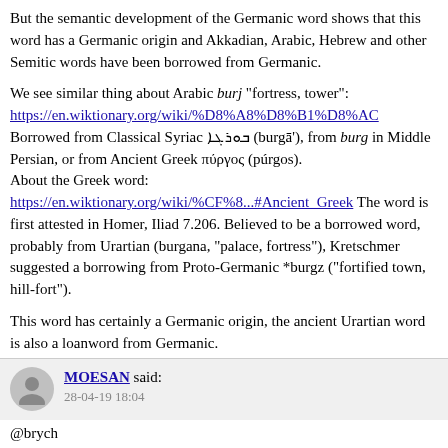But the semantic development of the Germanic word shows that this word has a Germanic origin and Akkadian, Arabic, Hebrew and other Semitic words have been borrowed from Germanic.
We see similar thing about Arabic burj "fortress, tower": https://en.wiktionary.org/wiki/%D8%A8%D8%B1%D8%AC Borrowed from Classical Syriac ܒܘܪܓܐ (burgā'), from burg in Middle Persian, or from Ancient Greek πύργος (púrgos). About the Greek word: https://en.wiktionary.org/wiki/%CF%8...#Ancient_Greek The word is first attested in Homer, Iliad 7.206. Believed to be a borrowed word, probably from Urartian (burgana, "palace, fortress"), Kretschmer suggested a borrowing from Proto-Germanic *burgz ("fortified town, hill-fort").
This word has certainly a Germanic origin, the ancient Urartian word is also a loanword from Germanic.
MOESAN said: 28-04-19 18:04
@brych